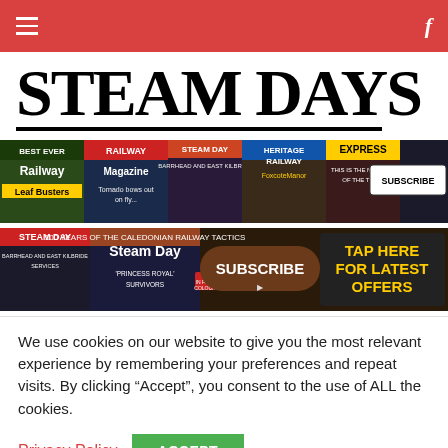Steam Days website header navigation bar with hamburger menu and Facebook icon
STEAM DAYS
[Figure (screenshot): Banner advertisement showing multiple magazine covers including Railway, Steam Days, Heritage Railway, Express with SUBSCRIBE button]
[Figure (screenshot): Banner advertisement showing Steam Days magazine with SUBSCRIBE button and TAP HERE FOR LATEST OFFERS text]
We use cookies on our website to give you the most relevant experience by remembering your preferences and repeat visits. By clicking “Accept”, you consent to the use of ALL the cookies.
Privacy Policy  ACCEPT